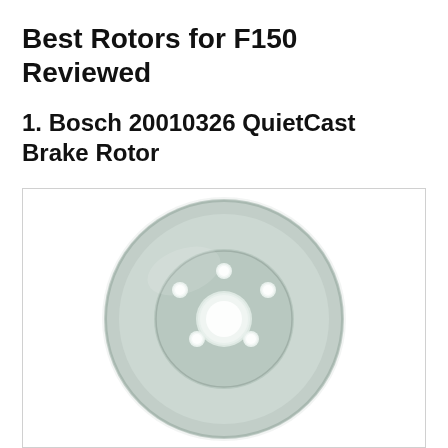Best Rotors for F150 Reviewed
1. Bosch 20010326 QuietCast Brake Rotor
[Figure (photo): Photo of a Bosch QuietCast brake rotor disc. The rotor is light grey/sage colored, circular with a large outer disc, an inner ring, a center hub hole, and five lug bolt holes arranged around the center. The rotor appears flat and has a smooth surface finish.]